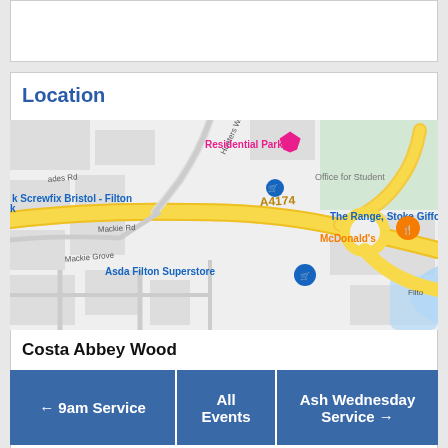Location
[Figure (map): Street map showing area around Bristol Filton including A4174 road, McDonald's, Asda Filton Superstore, Screwfix Bristol - Filton, The Range Stoke Gifford, Residential Park, and Office for Students. Costa Abbey Wood location is marked.]
Costa Abbey Wood
← 9am Service
All Events
Ash Wednesday Service →